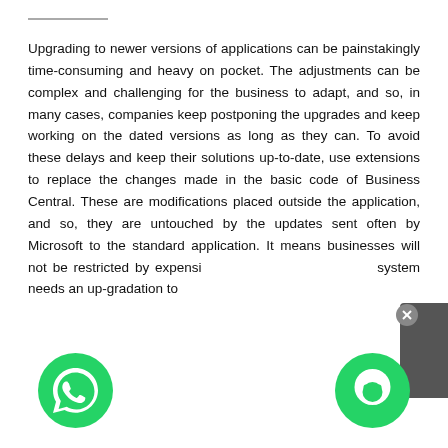Upgrading to newer versions of applications can be painstakingly time-consuming and heavy on pocket. The adjustments can be complex and challenging for the business to adapt, and so, in many cases, companies keep postponing the upgrades and keep working on the dated versions as long as they can. To avoid these delays and keep their solutions up-to-date, use extensions to replace the changes made in the basic code of Business Central. These are modifications placed outside the application, and so, they are untouched by the updates sent often by Microsoft to the standard application. It means businesses will not be restricted by expensive... system needs an up-gradation to...
[Figure (screenshot): Chat bubble overlay with text 'Hello, How are you?' on a light grey background, with a close button (X) in the top right corner, and a dark grey panel on the right edge.]
[Figure (logo): Green circle with white WhatsApp phone handset icon, bottom left corner.]
[Figure (logo): Green circle with white chat bubble / smiley face icon, bottom right corner.]